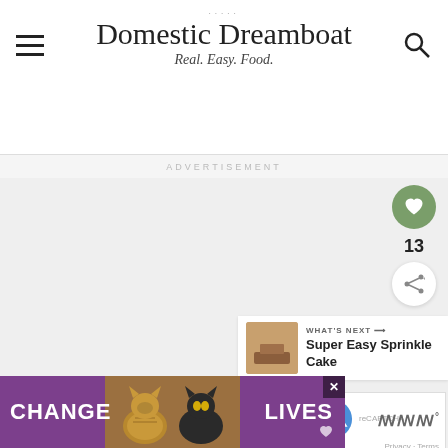Domestic Dreamboat — Real. Easy. Food.
ADVERTISEMENT
[Figure (other): Advertisement loading area with three gray loading indicator dots]
[Figure (other): Heart/save button (green circle with white heart icon), count: 13, and share button]
13
[Figure (other): WHAT'S NEXT arrow — Super Easy Sprinkle Cake thumbnail with text]
[Figure (other): reCAPTCHA widget with Privacy - Terms text]
[Figure (other): Bottom advertisement banner: CHANGE LIVES with cats, purple background with close button]
[Figure (logo): www logo bottom right]